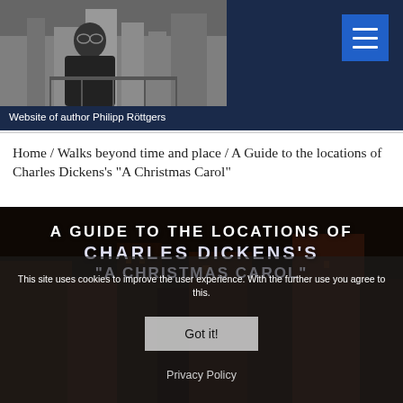[Figure (photo): Black and white photo of author Philipp Röttgers standing on a balcony or terrace with a city skyline in the background]
Website of author Philipp Röttgers
Home / Walks beyond time and place / A Guide to the locations of Charles Dickens's "A Christmas Carol"
[Figure (photo): Photograph of London buildings at night/dusk with dark overlay, serving as background for book guide title]
A GUIDE TO THE LOCATIONS OF CHARLES DICKENS'S "A CHRISTMAS CAROL"
This site uses cookies to improve the user experience. With the further use you agree to this.
Got it!
Privacy Policy